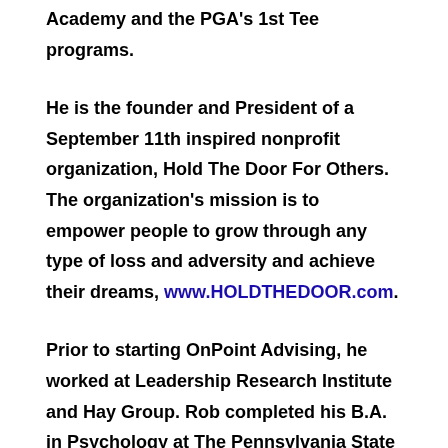Academy and the PGA's 1st Tee programs.
He is the founder and President of a September 11th inspired nonprofit organization, Hold The Door For Others. The organization's mission is to empower people to grow through any type of loss and adversity and achieve their dreams, www.HOLDTHEDOOR.com.
Prior to starting OnPoint Advising, he worked at Leadership Research Institute and Hay Group. Rob completed his B.A. in Psychology at The Pennsylvania State University. He earned an M.Ed. in Athletic Counseling from Springfield College and a MS in Counseling Psychology from Virginia Commonwealth University.